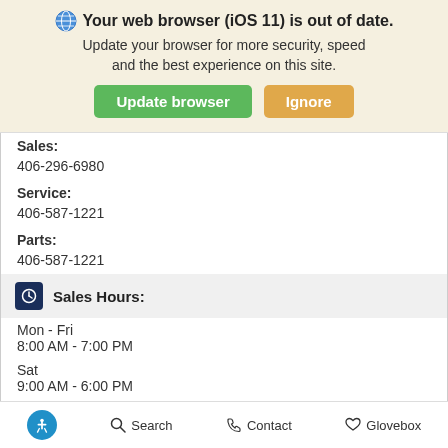[Figure (screenshot): Browser update banner: globe icon, bold text 'Your web browser (iOS 11) is out of date.', subtext 'Update your browser for more security, speed and the best experience on this site.', green 'Update browser' button and orange 'Ignore' button]
Sales:
406-296-6980
Service:
406-587-1221
Parts:
406-587-1221
Sales Hours:
Mon - Fri
8:00 AM - 7:00 PM
Sat
9:00 AM - 6:00 PM
Sun
Closed
Search   Contact   Glovebox